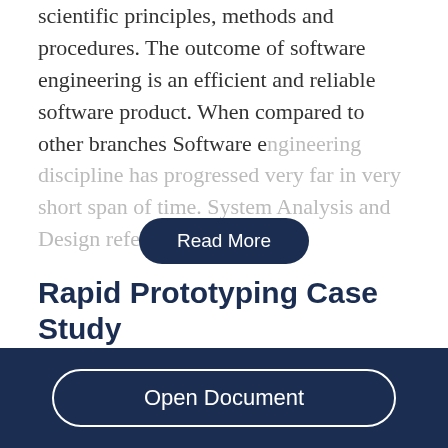scientific principles, methods and procedures. The outcome of software engineering is an efficient and reliable software product. When compared to other branches Software engineering discipline has progressed very far in very short span of time. System Analysis and Design refers to the...
[Figure (other): Read More button — dark navy rounded pill button with white text]
Rapid Prototyping Case Study
1463 Words  | 6 Pages
[Figure (other): Open Document button — white outlined rounded pill button on dark navy footer bar]